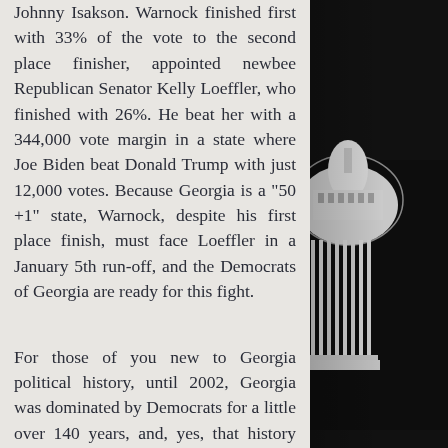Johnny Isakson. Warnock finished first with 33% of the vote to the second place finisher, appointed newbee Republican Senator Kelly Loeffler, who finished with 26%. He beat her with a 344,000 vote margin in a state where Joe Biden beat Donald Trump with just 12,000 votes. Because Georgia is a "50 +1" state, Warnock, despite his first place finish, must face Loeffler in a January 5th run-off, and the Democrats of Georgia are ready for this fight.
For those of you new to Georgia political history, until 2002, Georgia was dominated by Democrats for a little over 140 years, and, yes, that history had its peaks-- like the election of Maynard
[Figure (photo): Black and white photo of a classical government building, likely the US Capitol or similar domed building with columns, visible on the right side of the page]